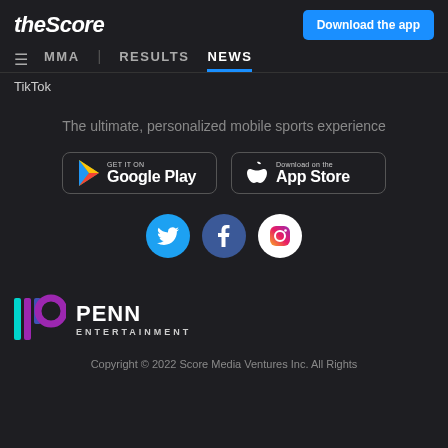theScore | Download the app
MMA | RESULTS NEWS
TikTok
The ultimate, personalized mobile sports experience
[Figure (logo): Google Play and App Store download buttons]
[Figure (logo): Social media icons: Twitter, Facebook, Instagram]
[Figure (logo): PENN Entertainment logo]
Copyright © 2022 Score Media Ventures Inc. All Rights